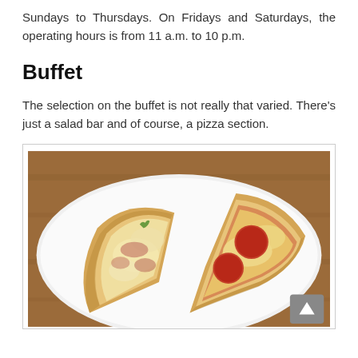Sundays to Thursdays. On Fridays and Saturdays, the operating hours is from 11 a.m. to 10 p.m.
Buffet
The selection on the buffet is not really that varied. There's just a salad bar and of course, a pizza section.
[Figure (photo): A white plate with two slices of pizza — one cheese pizza slice on the left and one pepperoni pizza slice on the right, placed on a brown wooden table surface.]